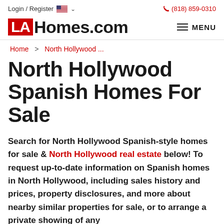Login / Register   🇺🇸 ∨   ☎ (818) 859-0310
LAHomes.com   ≡ MENU
Home > North Hollywood ...
North Hollywood Spanish Homes For Sale
Search for North Hollywood Spanish-style homes for sale & North Hollywood real estate below! To request up-to-date information on Spanish homes in North Hollywood, including sales history and prices, property disclosures, and more about nearby similar properties for sale, or to arrange a private showing of any